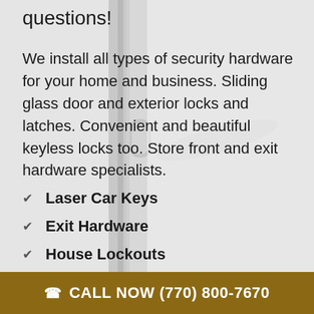questions!
We install all types of security hardware for your home and business. Sliding glass door and exterior locks and latches. Convenient and beautiful keyless locks too. Store front and exit hardware specialists.
Laser Car Keys
Exit Hardware
House Lockouts
Install Deadbolts
Fix Ignitions
CALL NOW (770) 800-7670